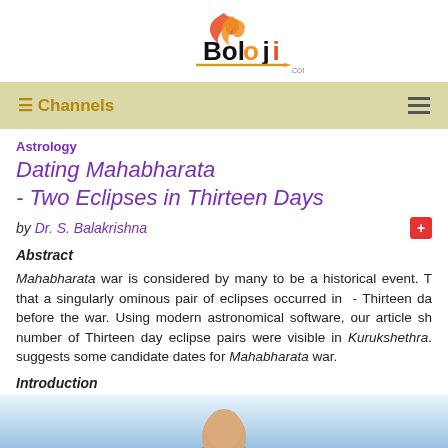[Figure (logo): Boloji.com logo with stylized bird/flame above bold text 'Boloji' with pencil underline]
≡ Channels
Astrology
Dating Mahabharata - Two Eclipses in Thirteen Days
by Dr. S. Balakrishna
Abstract
Mahabharata war is considered by many to be a historical event. T... that a singularly ominous pair of eclipses occurred in - Thirteen da... before the war. Using modern astronomical software, our article sh... number of Thirteen day eclipse pairs were visible in Kurukshethra... suggests some candidate dates for Mahabharata war.
Introduction
[Figure (photo): Partial photo of a person's head/face against light blue background, cropped at bottom of page]